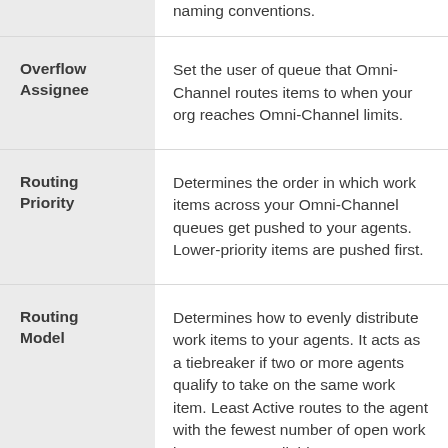| Term | Definition |
| --- | --- |
|  | naming conventions. |
| Overflow Assignee | Set the user of queue that Omni-Channel routes items to when your org reaches Omni-Channel limits. |
| Routing Priority | Determines the order in which work items across your Omni-Channel queues get pushed to your agents. Lower-priority items are pushed first. |
| Routing Model | Determines how to evenly distribute work items to your agents. It acts as a tiebreaker if two or more agents qualify to take on the same work item. Least Active routes to the agent with the fewest number of open work items. Most Available |